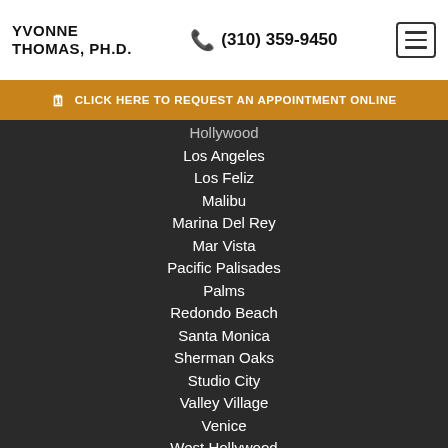YVONNE THOMAS, PH.D.
(310) 359-9450
CLICK HERE TO REQUEST AN APPOINTMENT ONLINE
Hollywood
Los Angeles
Los Feliz
Malibu
Marina Del Rey
Mar Vista
Pacific Palisades
Palms
Redondo Beach
Santa Monica
Sherman Oaks
Studio City
Valley Village
Venice
West Hollywood
West Los Angeles
Westwood